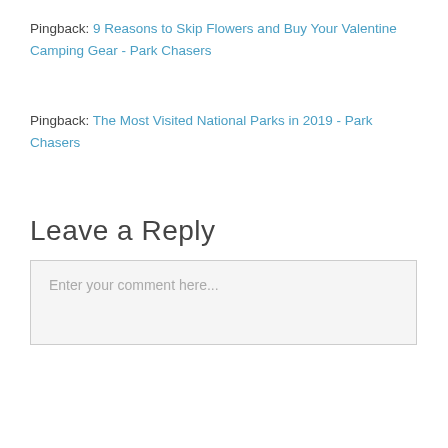Pingback: 9 Reasons to Skip Flowers and Buy Your Valentine Camping Gear - Park Chasers
Pingback: The Most Visited National Parks in 2019 - Park Chasers
Leave a Reply
Enter your comment here...